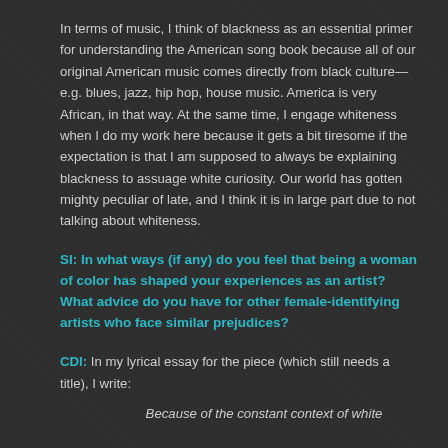In terms of music, I think of blackness as an essential primer for understanding the American song book because all of our original American music comes directly from black culture—e.g. blues, jazz, hip hop, house music. America is very African, in that way. At the same time, I engage whiteness when I do my work here because it gets a bit tiresome if the expectation is that I am supposed to always be explaining blackness to assuage white curiosity. Our world has gotten mighty peculiar of late, and I think it is in large part due to not talking about whiteness.
SI: In what ways (if any) do you feel that being a woman of color has shaped your experiences as an artist? What advice do you have for other female-identifying artists who face similar prejudices?
CDI: In my lyrical essay for the piece (which still needs a title), I write:
Because of the constant context of white